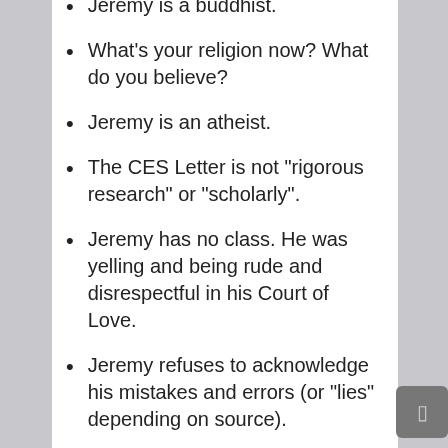Jeremy is a buddhist.
What's your religion now? What do you believe?
Jeremy is an atheist.
The CES Letter is not "rigorous research" or "scholarly".
Jeremy has no class. He was yelling and being rude and disrespectful in his Court of Love.
Jeremy refuses to acknowledge his mistakes and errors (or "lies" depending on source).